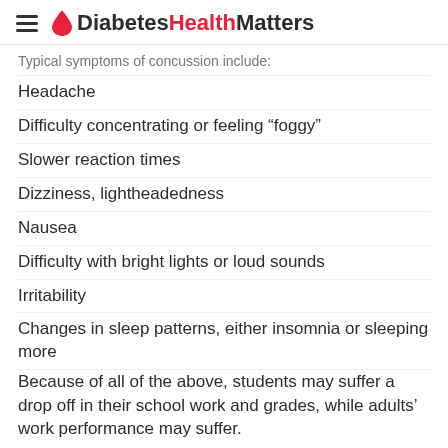DiabetesHealthMatters
Typical symptoms of concussion include:
Headache
Difficulty concentrating or feeling “foggy”
Slower reaction times
Dizziness, lightheadedness
Nausea
Difficulty with bright lights or loud sounds
Irritability
Changes in sleep patterns, either insomnia or sleeping more
Because of all of the above, students may suffer a drop off in their school work and grades, while adults' work performance may suffer.